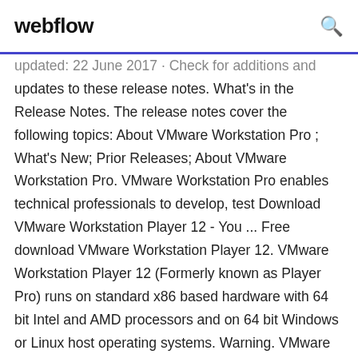webflow
updated: 22 June 2017 · Check for additions and updates to these release notes. What's in the Release Notes. The release notes cover the following topics: About VMware Workstation Pro ; What's New; Prior Releases; About VMware Workstation Pro. VMware Workstation Pro enables technical professionals to develop, test Download VMware Workstation Player 12 - You ... Free download VMware Workstation Player 12. VMware Workstation Player 12 (Formerly known as Player Pro) runs on standard x86 based hardware with 64 bit Intel and AMD processors and on 64 bit Windows or Linux host operating systems. Warning. VMware Workstation Player is not designed to co-install